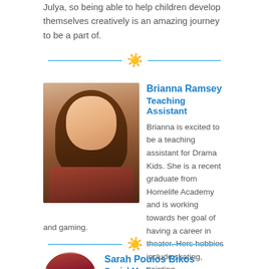Julya, so being able to help children develop themselves creatively is an amazing journey to be a part of.
[Figure (illustration): Decorative divider with sun icon and blue horizontal lines]
[Figure (photo): Photo of Brianna Ramsey, a young woman with long brown hair wearing a rust/terracotta colored top, seated outdoors near a train or railing]
Brianna Ramsey
Teaching Assistant
Brianna is excited to be a teaching assistant for Drama Kids. She is a recent graduate from Homelife Academy and is working towards her goal of having a career in theater. Hers hobbies include skating, painting, and gaming.
[Figure (illustration): Decorative divider with sun icon and blue horizontal lines]
Sarah Poulos Bikos
Social Media
[Figure (photo): Partial photo of Sarah Poulos Bikos, a woman with red/auburn hair, head and shoulders visible]